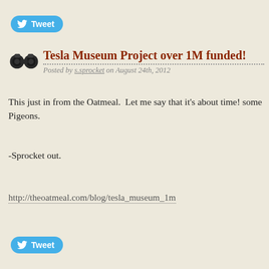[Figure (other): Twitter Tweet button (top)]
Tesla Museum Project over 1M funded!
Posted by s.sprocket on August 24th, 2012
This just in from the Oatmeal. Let me say that it's about time! some Pigeons.
-Sprocket out.
http://theoatmeal.com/blog/tesla_museum_1m
[Figure (other): Twitter Tweet button (bottom)]